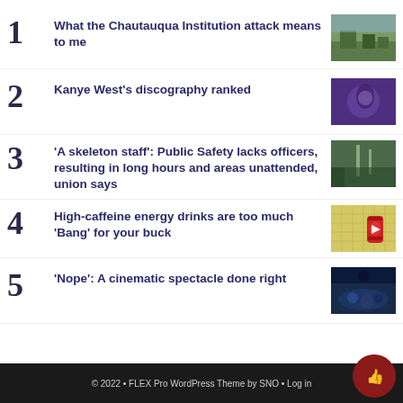What the Chautauqua Institution attack means to me
Kanye West's discography ranked
'A skeleton staff': Public Safety lacks officers, resulting in long hours and areas unattended, union says
High-caffeine energy drinks are too much 'Bang' for your buck
'Nope': A cinematic spectacle done right
© 2022 • FLEX Pro WordPress Theme by SNO • Log in